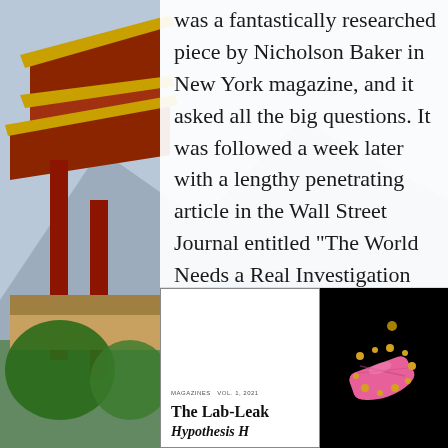was a fantastically researched piece by Nicholson Baker in New York magazine, and it asked all the big questions. It was followed a week later with a lengthy penetrating article in the Wall Street Journal entitled “The World Needs a Real Investigation into the Origins of Covid-19.” (source, source)
[Figure (photo): Chinese pagoda/temple structure with red columns and ornate roof against a scenic backdrop]
[Figure (photo): Book cover for 'The Lab-Leak Hypothesis' alongside an image of a pink coronavirus particle on black background]